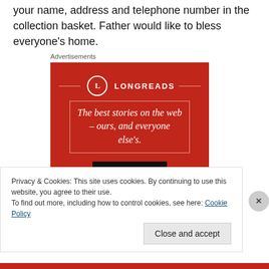your name, address and telephone number in the collection basket. Father would like to bless everyone's home.
Advertisements
[Figure (other): Longreads advertisement: red background with Longreads logo (circle with L), tagline 'The best stories on the web – ours, and everyone else's.' and a black 'Start reading' button.]
Privacy & Cookies: This site uses cookies. By continuing to use this website, you agree to their use.
To find out more, including how to control cookies, see here: Cookie Policy
Close and accept